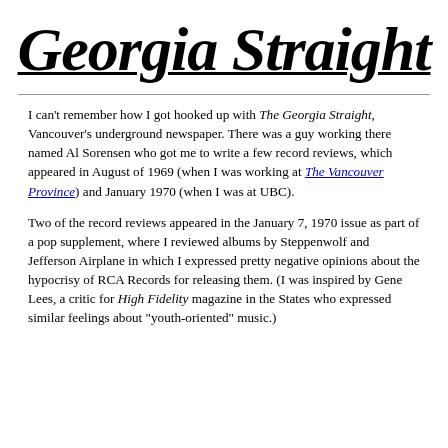Georgia Straight
I can't remember how I got hooked up with The Georgia Straight, Vancouver's underground newspaper. There was a guy working there named Al Sorensen who got me to write a few record reviews, which appeared in August of 1969 (when I was working at The Vancouver Province) and January 1970 (when I was at UBC).
Two of the record reviews appeared in the January 7, 1970 issue as part of a pop supplement, where I reviewed albums by Steppenwolf and Jefferson Airplane in which I expressed pretty negative opinions about the hypocrisy of RCA Records for releasing them. (I was inspired by Gene Lees, a critic for High Fidelity magazine in the States who expressed similar feelings about "youth-oriented" music.)